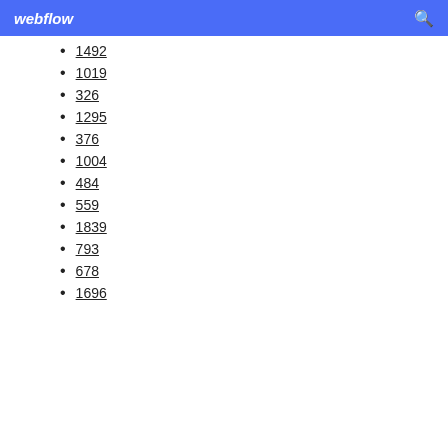webflow
1492
1019
326
1295
376
1004
484
559
1839
793
678
1696